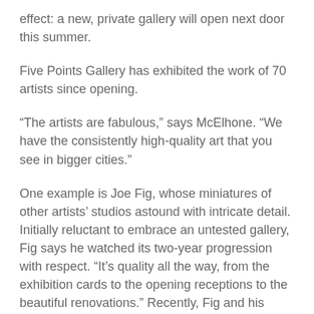effect: a new, private gallery will open next door this summer.
Five Points Gallery has exhibited the work of 70 artists since opening.
“The artists are fabulous,” says McElhone. “We have the consistently high-quality art that you see in bigger cities.”
One example is Joe Fig, whose miniatures of other artists’ studios astound with intricate detail. Initially reluctant to embrace an untested gallery, Fig says he watched its two-year progression with respect. “It’s quality all the way, from the exhibition cards to the opening receptions to the beautiful renovations.” Recently, Fig and his University of Hartford colleague Power Booth showed jointly at Five Points Gallery to rave reviews.